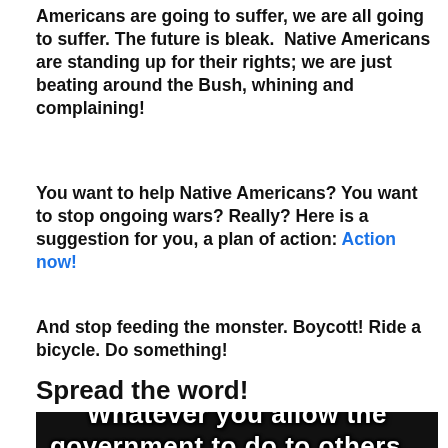Americans are going to suffer, we are all going to suffer. The future is bleak.  Native Americans are standing up for their rights; we are just beating around the Bush, whining and complaining!
You want to help Native Americans? You want to stop ongoing wars? Really? Here is a suggestion for you, a plan of action: Action now!
And stop feeding the monster. Boycott! Ride a bicycle. Do something!
Spread the word!
[Figure (photo): Meme image with dark background and bold white text reading 'Whatever you allow the government to do to others...']